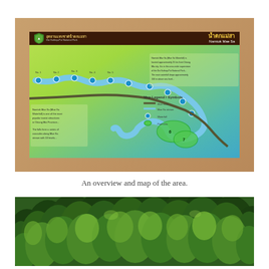[Figure (photo): Photograph of an informational sign board for Namtok Mae Sa National Park, showing a map and overview of the area with a green-to-teal gradient background and Thai/English text. The sign is mounted on wooden posts surrounded by trees.]
An overview and map of the area.
[Figure (photo): Photograph of dense green forest canopy with lush tropical trees, various shades of green foliage visible.]